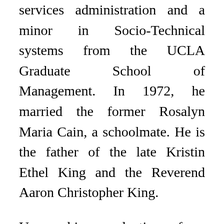services administration and a minor in Socio-Technical systems from the UCLA Graduate School of Management. In 1972, he married the former Rosalyn Maria Cain, a schoolmate. He is the father of the late Kristin Ethel King and the Reverend Aaron Christopher King.
Upon his graduation from UCLA, he was recruited to the faculty of the Howard University School of Business to serve as an Assistant Professor. He and his family joined the Mt. Calvary Baptist Church in Rockville, Maryland upon relocation. There, he was elected to the Board of Deacons in 1977, ordained in 1978, and served as its chair until